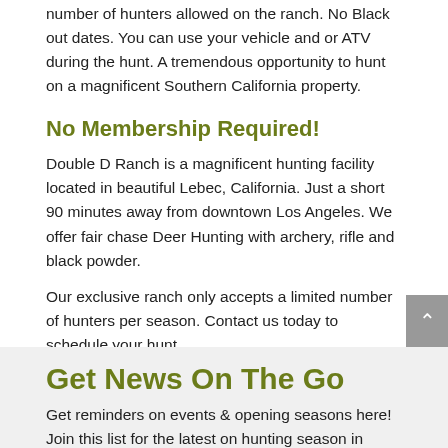number of hunters allowed on the ranch. No Black out dates. You can use your vehicle and or ATV during the hunt. A tremendous opportunity to hunt on a magnificent Southern California property.
No Membership Required!
Double D Ranch is a magnificent hunting facility located in beautiful Lebec, California. Just a short 90 minutes away from downtown Los Angeles. We offer fair chase Deer Hunting with archery, rifle and black powder.
Our exclusive ranch only accepts a limited number of hunters per season. Contact us today to schedule your hunt.
Get News On The Go
Get reminders on events & opening seasons here! Join this list for the latest on hunting season in Lebec, California.